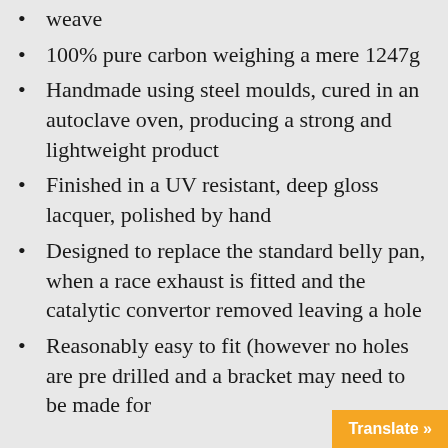weave
100% pure carbon weighing a mere 1247g
Handmade using steel moulds, cured in an autoclave oven, producing a strong and lightweight product
Finished in a UV resistant, deep gloss lacquer, polished by hand
Designed to replace the standard belly pan, when a race exhaust is fitted and the catalytic convertor removed leaving a hole
Reasonably easy to fit (however no holes are pre drilled and a bracket may need to be made for